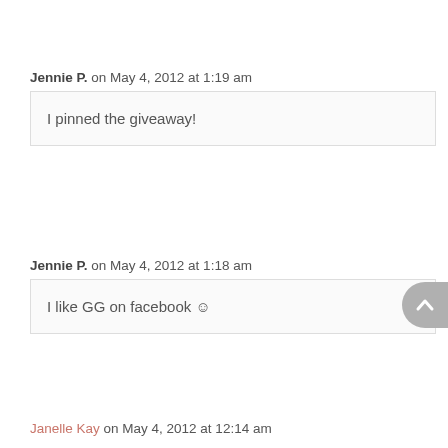Jennie P. on May 4, 2012 at 1:19 am
I pinned the giveaway!
Jennie P. on May 4, 2012 at 1:18 am
I like GG on facebook 🙂
Janelle Kay on May 4, 2012 at 12:14 am